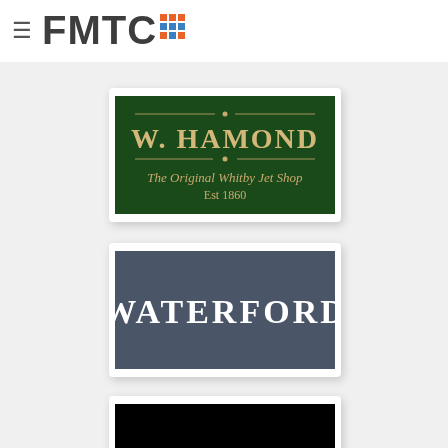FMTC
[Figure (logo): W. Hamond - The Original Whitby Jet Shop Est 1860 logo on dark green background]
[Figure (logo): Waterford logo on dark blue-grey background]
[Figure (logo): Partially visible logo on black background]